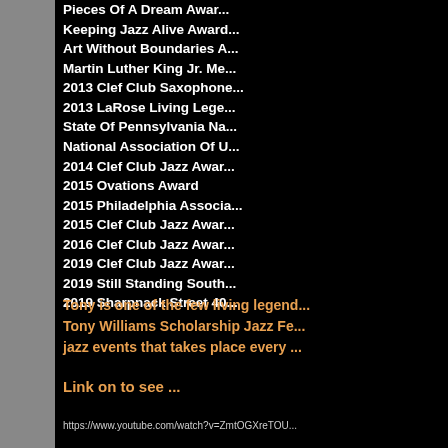Pieces Of A Dream Award
Keeping Jazz Alive Award
Art Without Boundaries Award
Martin Luther King Jr. Memorial Award
2013 Clef Club Saxophone Award
2013 LaRose Living Legend Award
State Of Pennsylvania National Award
National Association Of Urban Award
2014 Clef Club Jazz Award
2015 Ovations Award
2015 Philadelphia Association Award
2015 Clef Club Jazz Award
2016 Clef Club Jazz Award
2019 Clef Club Jazz Award
2019 Still Standing South Award
2019 Sharpnack Street 40th Anniversary
Tony is one of the few living legends... Tony Williams Scholarship Jazz Festival... jazz events that takes place every year...
Link on to see ...
https://www.youtube.com/watch?v=ZmtOGXreTOU